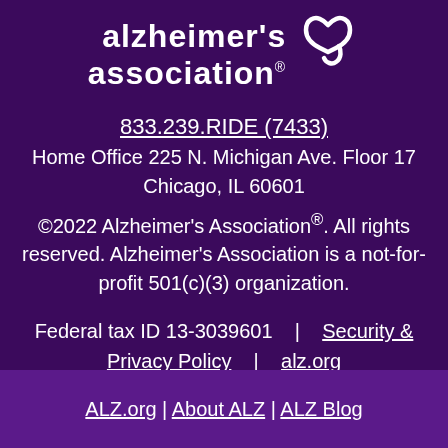[Figure (logo): Alzheimer's Association logo with ribbon symbol, white text on dark purple background]
833.239.RIDE (7433)
Home Office 225 N. Michigan Ave. Floor 17
Chicago, IL 60601
©2022 Alzheimer's Association®. All rights reserved. Alzheimer's Association is a not-for-profit 501(c)(3) organization.
Federal tax ID 13-3039601   |   Security & Privacy Policy   |   alz.org
ALZ.org | About ALZ | ALZ Blog